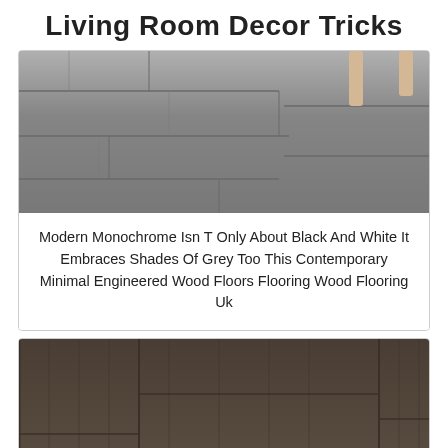Living Room Decor Tricks
[Figure (photo): Grey engineered wood floor with furniture legs visible in the upper right corner]
Modern Monochrome Isn T Only About Black And White It Embraces Shades Of Grey Too This Contemporary Minimal Engineered Wood Floors Flooring Wood Flooring Uk
[Figure (photo): Dark brown wood plank flooring with grain texture and a red CLOSE button overlay at the bottom center]